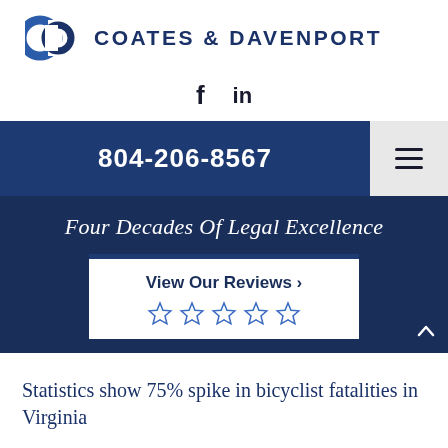[Figure (logo): Coates & Davenport law firm logo: two blue overlapping C shapes forming a circular emblem, next to the firm name in dark blue uppercase letters]
[Figure (infographic): Social media icons: Facebook f and LinkedIn in letters in dark color]
804-206-8567
Four Decades Of Legal Excellence
View Our Reviews >
★★★★★ (five outline stars)
Statistics show 75% spike in bicyclist fatalities in Virginia